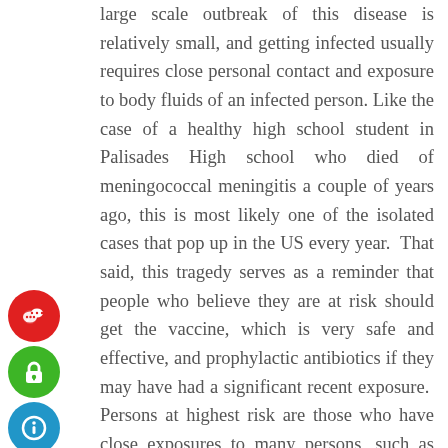large scale outbreak of this disease is relatively small, and getting infected usually requires close personal contact and exposure to body fluids of an infected person. Like the case of a healthy high school student in Palisades High school who died of meningococcal meningitis a couple of years ago, this is most likely one of the isolated cases that pop up in the US every year. That said, this tragedy serves as a reminder that people who believe they are at risk should get the vaccine, which is very safe and effective, and prophylactic antibiotics if they may have had a significant recent exposure. Persons at highest risk are those who have close exposures to many persons, such as students in dormitories or military personnel in barracks, and persons
[Figure (infographic): Six colored circular icon buttons stacked vertically on the left side: red (chat/message bubbles), green (lock/privacy), blue (accessibility info symbol), orange (envelope/email), purple (A★ translation), dark red (hand with heart/donate)]